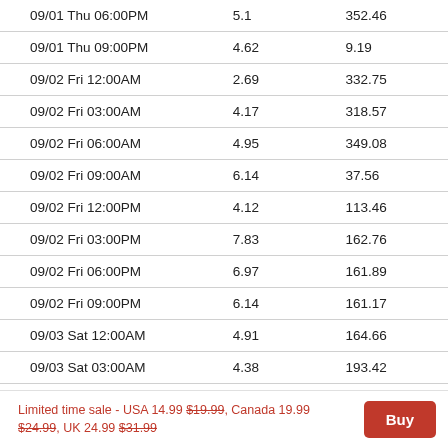| Date/Time | Col2 | Col3 |
| --- | --- | --- |
| 09/01 Thu 06:00PM | 5.1 | 352.46 |
| 09/01 Thu 09:00PM | 4.62 | 9.19 |
| 09/02 Fri 12:00AM | 2.69 | 332.75 |
| 09/02 Fri 03:00AM | 4.17 | 318.57 |
| 09/02 Fri 06:00AM | 4.95 | 349.08 |
| 09/02 Fri 09:00AM | 6.14 | 37.56 |
| 09/02 Fri 12:00PM | 4.12 | 113.46 |
| 09/02 Fri 03:00PM | 7.83 | 162.76 |
| 09/02 Fri 06:00PM | 6.97 | 161.89 |
| 09/02 Fri 09:00PM | 6.14 | 161.17 |
| 09/03 Sat 12:00AM | 4.91 | 164.66 |
| 09/03 Sat 03:00AM | 4.38 | 193.42 |
| 09/03 Sat 06:00AM | 3.41 | 215.66 |
Limited time sale - USA 14.99 $19.99, Canada 19.99 $24.99, UK 24.99 $31.99